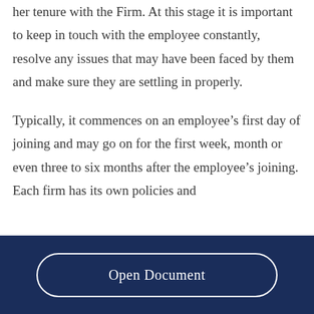her tenure with the Firm. At this stage it is important to keep in touch with the employee constantly, resolve any issues that may have been faced by them and make sure they are settling in properly.
Typically, it commences on an employee's first day of joining and may go on for the first week, month or even three to six months after the employee's joining. Each firm has its own policies and